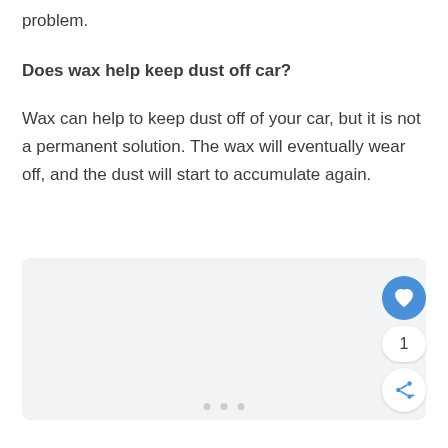problem.
Does wax help keep dust off car?
Wax can help to keep dust off of your car, but it is not a permanent solution. The wax will eventually wear off, and the dust will start to accumulate again.